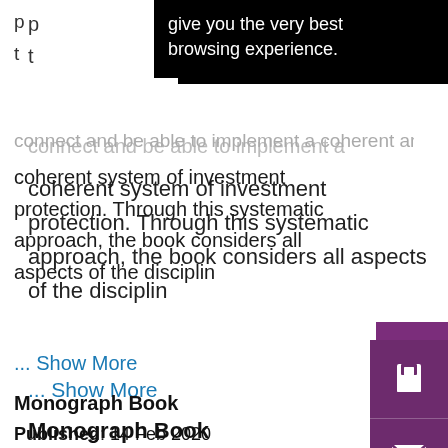[Figure (screenshot): Black tooltip/popup overlay showing text: 'give you the very best browsing experience.']
p...
t...
coherent system of investment protection. Through this systematic approach, the book considers all aspects of the disciplin
... Show More
Monograph Book
Published:  14 Feb 2020
DOI:  https://doi.org/10.4337/9781788975896
Collection:  Law 2020
[Figure (photo): Book cover of 'THE ICSID CONVENTION, REGULATIONS AND RULES - A Practical Commentary']